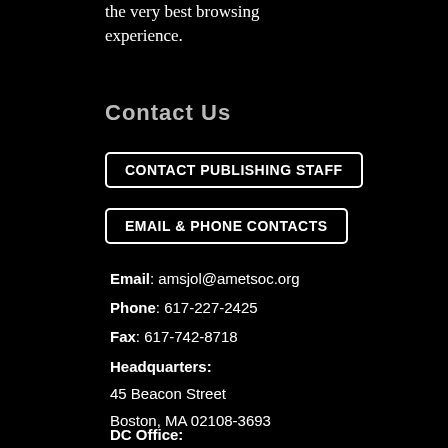the very best browsing experience.
Contact Us
CONTACT PUBLISHING STAFF
EMAIL & PHONE CONTACTS
Email: amsjol@ametsoc.org
Phone: 617-227-2425
Fax: 617-742-8718
Headquarters:
45 Beacon Street
Boston, MA 02108-3693
DC Office: